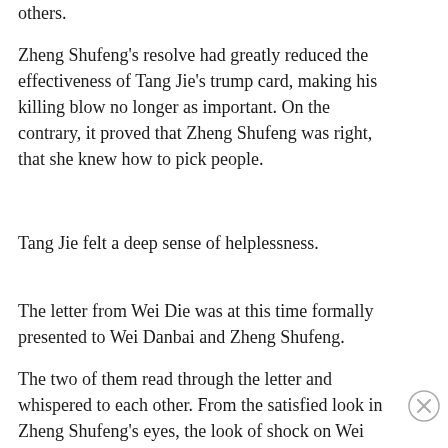others.
Zheng Shufeng's resolve had greatly reduced the effectiveness of Tang Jie's trump card, making his killing blow no longer as important. On the contrary, it proved that Zheng Shufeng was right, that she knew how to pick people.
Tang Jie felt a deep sense of helplessness.
The letter from Wei Die was at this time formally presented to Wei Danbai and Zheng Shufeng.
The two of them read through the letter and whispered to each other. From the satisfied look in Zheng Shufeng's eyes, the look of shock on Wei